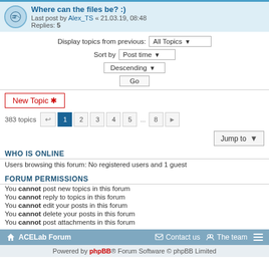Where can the files be? :) — Last post by Alex_TS « 21.03.19, 08:48 — Replies: 5
Display topics from previous: All Topics
Sort by: Post time
Descending
Go
New Topic *
383 topics — page 1 of 8
Jump to
WHO IS ONLINE
Users browsing this forum: No registered users and 1 guest
FORUM PERMISSIONS
You cannot post new topics in this forum
You cannot reply to topics in this forum
You cannot edit your posts in this forum
You cannot delete your posts in this forum
You cannot post attachments in this forum
ACELab Forum — Contact us — The team
Powered by phpBB® Forum Software © phpBB Limited